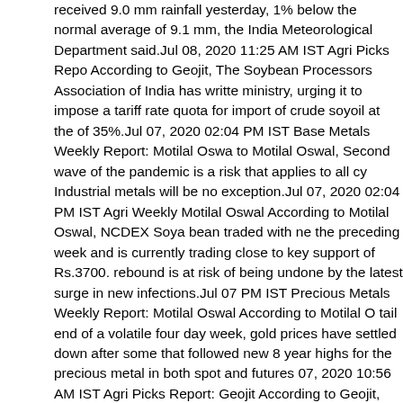received 9.0 mm rainfall yesterday, 1% below the normal average of 9.1 mm, the India Meteorological Department said.Jul 08, 2020 11:25 AM IST Agri Picks Report: According to Geojit, The Soybean Processors Association of India has written to the ministry, urging it to impose a tariff rate quota for import of crude soyoil at the rate of 35%.Jul 07, 2020 02:04 PM IST Base Metals Weekly Report: Motilal Oswal According to Motilal Oswal, Second wave of the pandemic is a risk that applies to all cyclicals. Industrial metals will be no exception.Jul 07, 2020 02:04 PM IST Agri Weekly Report: Motilal Oswal According to Motilal Oswal, NCDEX Soya bean traded with negative bias through the preceding week and is currently trading close to key support of Rs.3700. Also, the rebound is at risk of being undone by the latest surge in new infections.Jul 07, 2020 10:36 PM IST Precious Metals Weekly Report: Motilal Oswal According to Motilal Oswal, At the tail end of a volatile four day week, gold prices have settled down after some sharp moves that followed new 8 year highs for the precious metal in both spot and futures markets.Jul 07, 2020 10:56 AM IST Agri Picks Report: Geojit According to Geojit, The government has procured 795,945 tn mustard harvested in 2019 20 (JulJun) in five states under the price support scheme, a government official said.Jul 06, 2020 09:55 AM IST Agri Picks Report: Geojit According to Geojit, The coronavirus pandemic has altered global coffee consumption significantly, as lockdowns restrict movement and social distancing becomes the norm.Jul 03, 2020 09:59 AM IST Agri Picks Report: Geojit According to Geojit, India received 5.3 mm rainfall yesterday, 34% lower than the normal of 8.1 mm for the day, the India Meteorological Department said.Jul 02, 2020 11:18 AM IST Agri Picks Report: According to Geojit, India received 5.3 mm rainfall yesterday, 34% lower than the normal of 8.1 mm for the day, the India Meteorological Department said.Jul 01, 2020 11:22 AM IST Agri Picks Report: Geojit According to Geojit, Faced with excess food grain stocks in the central pool, Food Corp of India has written to the ministry of consumer affairs about discontinuing priority-status to the Pradhan Mantri Garib Kalyan